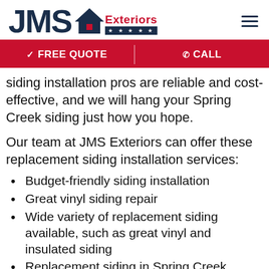[Figure (logo): JMS Exteriors logo with house icon and five stars on dark background]
✓ FREE QUOTE   ✆ CALL
siding installation pros are reliable and cost-effective, and we will hang your Spring Creek siding just how you hope.
Our team at JMS Exteriors can offer these replacement siding installation services:
Budget-friendly siding installation
Great vinyl siding repair
Wide variety of replacement siding available, such as great vinyl and insulated siding
Replacement siding in Spring Creek...